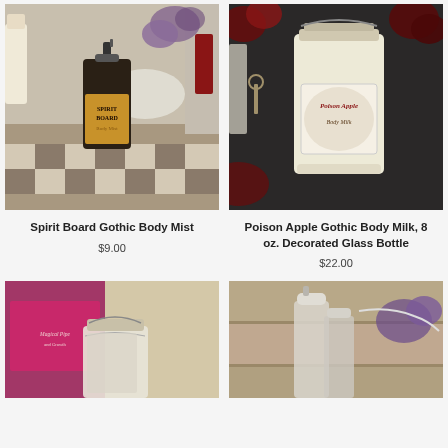[Figure (photo): Spirit Board Gothic Body Mist spray bottle sitting on a checkered surface with purple flowers in background]
Spirit Board Gothic Body Mist
$9.00
[Figure (photo): Poison Apple Gothic Body Milk in a decorated glass mason jar with label, dark cloth background with roses]
Poison Apple Gothic Body Milk, 8 oz. Decorated Glass Bottle
$22.00
[Figure (photo): Small decorative glass jar with metal clamp lid, pink and beige background]
[Figure (photo): Spray bottle with clear cap near purple flowers and beads background]